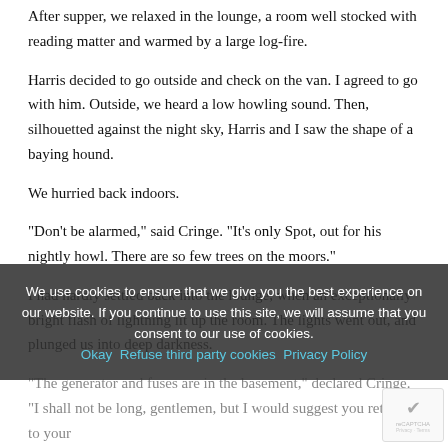After supper, we relaxed in the lounge, a room well stocked with reading matter and warmed by a large log-fire.
Harris decided to go outside and check on the van. I agreed to go with him. Outside, we heard a low howling sound. Then, silhouetted against the night sky, Harris and I saw the shape of a baying hound.
We hurried back indoors.
“Don’t be alarmed,” said Cringe. “It’s only Spot, out for his nightly howl. There are so few trees on the moors.”
I had hardly settled back into the lounge, when an exceptionally bright flash of lightning lit up the room. The lights went out, and plunged us into deep darkness.
“The generator and fuses are in the basement,” declared Cringe. “I shall not be long, gentlemen, but I would suggest you return to your rooms until you can find it again. The Baroness is due back at any moment.
Back in our bedroom, we waited.
We use cookies to ensure that we give you the best experience on our website. If you continue to use this site, we will assume that you consent to our use of cookies.